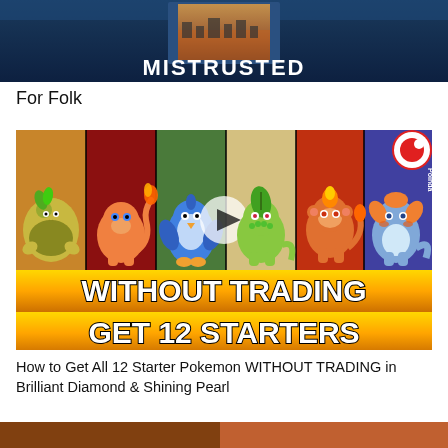[Figure (screenshot): Top portion of a video thumbnail or banner showing 'MISTRUSTED' text in white bold letters on a dark blue background with a doorway/portal visual]
For Folk
[Figure (screenshot): YouTube thumbnail showing 6 starter Pokemon characters against colorful backgrounds with bold yellow text 'WITHOUT TRADING GET 12 STARTERS' and a play button overlay. A small circular Poinda logo is in the top right corner.]
How to Get All 12 Starter Pokemon WITHOUT TRADING in Brilliant Diamond & Shining Pearl
[Figure (photo): Partial view of another video thumbnail at the bottom of the page, showing a dark/orange toned image]